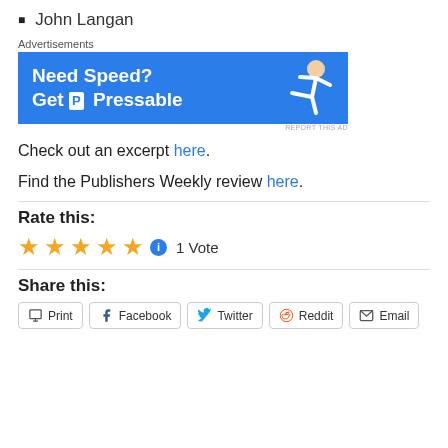John Langan
[Figure (other): Advertisement banner for Pressable hosting: 'Need Speed? Get P Pressable' with a figure of a person flying, on a blue background]
Check out an excerpt here.
Find the Publishers Weekly review here.
Rate this:
★★★★★ ℹ 1 Vote
Share this:
Print  Facebook  Twitter  Reddit  Email